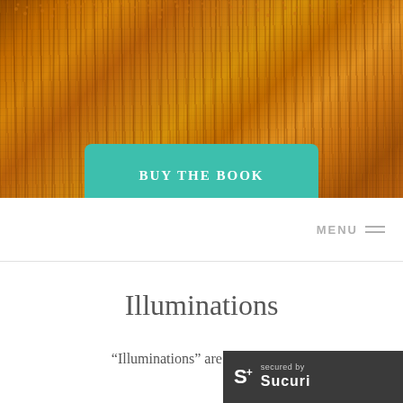[Figure (photo): Golden wheat or grass field background image with warm amber/orange tones, showing dense stalks with seed heads]
BUY THE BOOK
MENU
Illuminations
“Illuminations” are are insights
[Figure (logo): Sucuri security badge: dark grey background with S+ logo and 'secured by Sucuri' text]